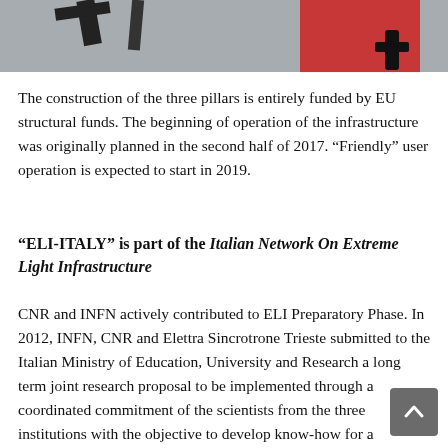[Figure (illustration): Partial view of a scientific/laser facility illustration showing equipment against a grey background with a red element visible]
The construction of the three pillars is entirely funded by EU structural funds. The beginning of operation of the infrastructure was originally planned in the second half of 2017. “Friendly” user operation is expected to start in 2019.
“ELI-ITALY” is part of the Italian Network On Extreme Light Infrastructure
CNR and INFN actively contributed to ELI Preparatory Phase. In 2012, INFN, CNR and Elettra Sincrotrone Trieste submitted to the Italian Ministry of Education, University and Research a long term joint research proposal to be implemented through a coordinated commitment of the scientists from the three institutions with the objective to develop know-how for a perspective expert use of the facilities by the National community and contribute to the realization of the three pillars.